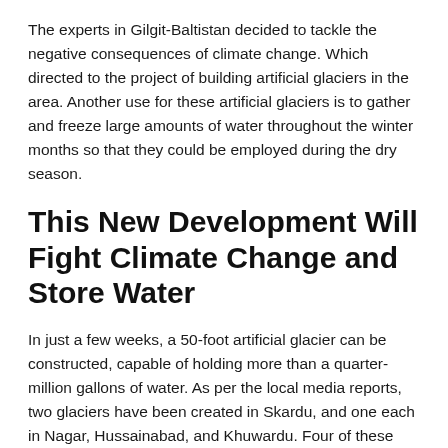The experts in Gilgit-Baltistan decided to tackle the negative consequences of climate change. Which directed to the project of building artificial glaciers in the area. Another use for these artificial glaciers is to gather and freeze large amounts of water throughout the winter months so that they could be employed during the dry season.
This New Development Will Fight Climate Change and Store Water
In just a few weeks, a 50-foot artificial glacier can be constructed, capable of holding more than a quarter-million gallons of water. As per the local media reports, two glaciers have been created in Skardu, and one each in Nagar, Hussainabad, and Khuwardu. Four of these glaciers are higher than 4,000 meters, and one is past the height of 3,200 meters.